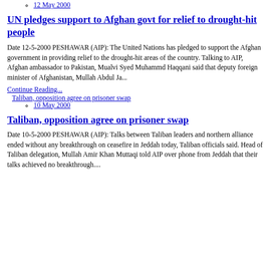12 May 2000
UN pledges support to Afghan govt for relief to drought-hit people
Date 12-5-2000 PESHAWAR (AIP): The United Nations has pledged to support the Afghan government in providing relief to the drought-hit areas of the country. Talking to AIP, Afghan ambassador to Pakistan, Mualvi Syed Muhammd Haqqani said that deputy foreign minister of Afghanistan, Mullah Abdul Ja...
Continue Reading...
Taliban, opposition agree on prisoner swap
10 May 2000
Taliban, opposition agree on prisoner swap
Date 10-5-2000 PESHAWAR (AIP): Talks between Taliban leaders and northern alliance ended without any breakthrough on ceasefire in Jeddah today, Taliban officials said. Head of Taliban delegation, Mullah Amir Khan Muttaqi told AIP over phone from Jeddah that their talks achieved no breakthrough....